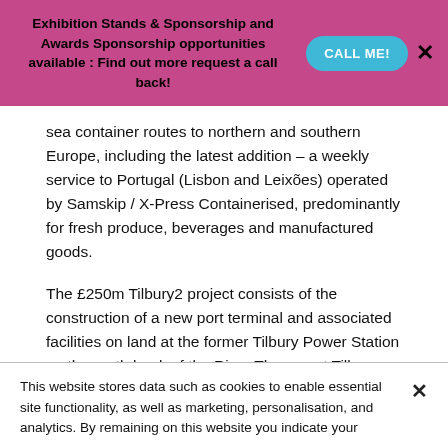Exhibition Stands & Sponsorship and Awards Sponsorship opportunities available : Find out more request a call back!
sea container routes to northern and southern Europe, including the latest addition – a weekly service to Portugal (Lisbon and Leixões) operated by Samskip / X-Press Containerised, predominantly for fresh produce, beverages and manufactured goods.
The £250m Tilbury2 project consists of the construction of a new port terminal and associated facilities on land at the former Tilbury Power Station on the north bank of the River Thames at Tilbury.
When operational in April 2020, Tilbury2 will be the UK's largest
This website stores data such as cookies to enable essential site functionality, as well as marketing, personalisation, and analytics. By remaining on this website you indicate your